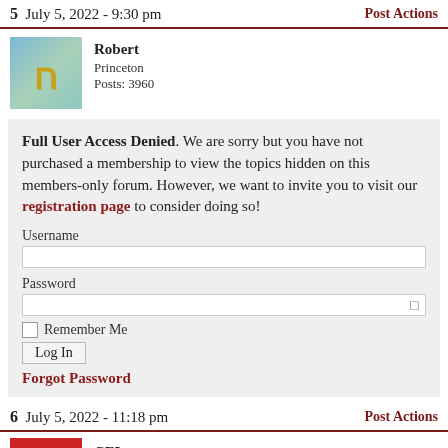5  July 5, 2022 - 9:30 pm    Post Actions
[Figure (photo): User avatar image showing a golden Hebrew letter Chai on a blue/teal background]
Robert
Princeton
Posts: 3960
Full User Access Denied. We are sorry but you have not purchased a membership to view the topics hidden on this members-only forum. However, we want to invite you to visit our registration page to consider doing so!
Username
Password
Remember Me
Log In
Forgot Password
6  July 5, 2022 - 11:18 pm    Post Actions
CEL